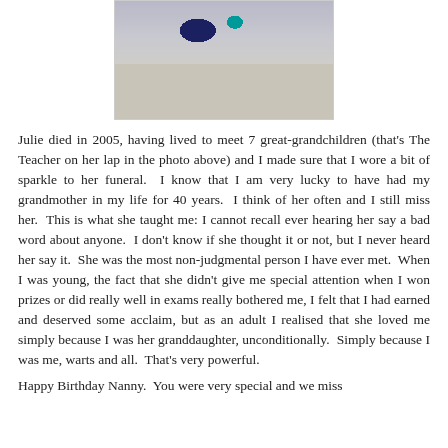[Figure (photo): Partial photo showing what appears to be a child on someone's lap, cropped at top, with light grey/beige background]
Julie died in 2005, having lived to meet 7 great-grandchildren (that's The Teacher on her lap in the photo above) and I made sure that I wore a bit of sparkle to her funeral.  I know that I am very lucky to have had my grandmother in my life for 40 years.  I think of her often and I still miss her.  This is what she taught me: I cannot recall ever hearing her say a bad word about anyone.  I don't know if she thought it or not, but I never heard her say it.  She was the most non-judgmental person I have ever met.  When I was young, the fact that she didn't give me special attention when I won prizes or did really well in exams really bothered me, I felt that I had earned and deserved some acclaim, but as an adult I realised that she loved me simply because I was her granddaughter, unconditionally.  Simply because I was me, warts and all.  That's very powerful.
Happy Birthday Nanny.  You were very special and we miss